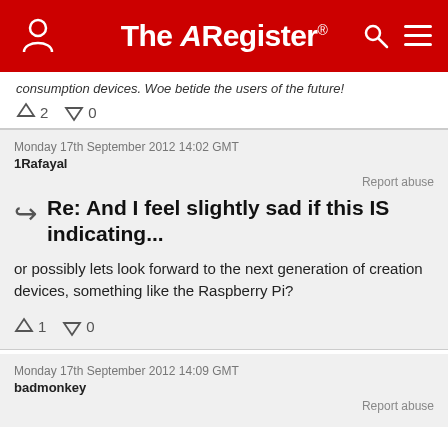The Register
consumption devices. Woe betide the users of the future!
↑2  ↓0
Monday 17th September 2012 14:02 GMT
1Rafayal
Report abuse
Re: And I feel slightly sad if this IS indicating...
or possibly lets look forward to the next generation of creation devices, something like the Raspberry Pi?
↑1  ↓0
Monday 17th September 2012 14:09 GMT
badmonkey
Report abuse